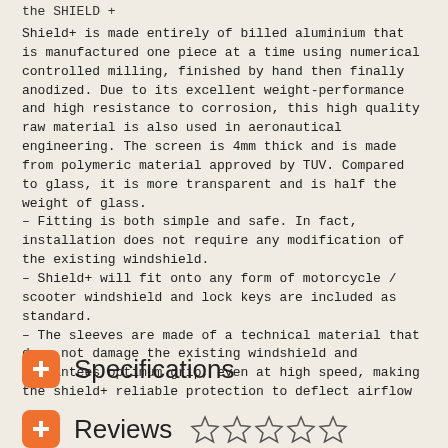the SHIELD +
Shield+ is made entirely of billed aluminium that is manufactured one piece at a time using numerical controlled milling, finished by hand then finally anodized. Due to its excellent weight-performance and high resistance to corrosion, this high quality raw material is also used in aeronautical engineering. The screen is 4mm thick and is made from polymeric material approved by TUV. Compared to glass, it is more transparent and is half the weight of glass.
- Fitting is both simple and safe. In fact, installation does not require any modification of the existing windshield.
- Shield+ will fit onto any form of motorcycle / scooter windshield and lock keys are included as standard.
- The sleeves are made of a technical material that does not damage the existing windshield and guarantees optimum grip, even at high speed, making the shield+ reliable protection to deflect airflow
Specifications
Reviews